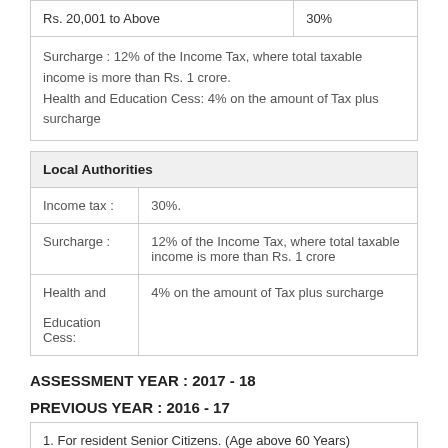| Rs. 20,001 to Above | 30% |
Surcharge : 12% of the Income Tax, where total taxable income is more than Rs. 1 crore.
Health and Education Cess: 4% on the amount of Tax plus surcharge
| Local Authorities |
| --- |
| Income tax : | 30%. |
| Surcharge : | 12% of the Income Tax, where total taxable income is more than Rs. 1 crore |
| Health and Education Cess: | 4% on the amount of Tax plus surcharge |
ASSESSMENT YEAR : 2017 - 18
PREVIOUS YEAR : 2016 - 17
1. For resident Senior Citizens. (Age above 60 Years)